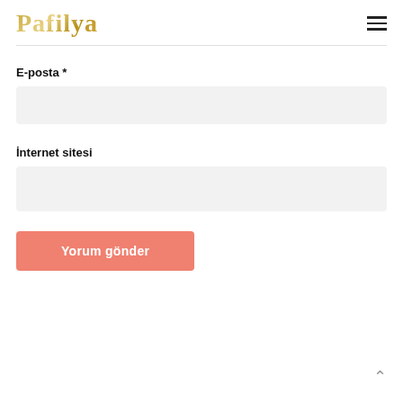Pafilya
E-posta *
İnternet sitesi
Yorum gönder